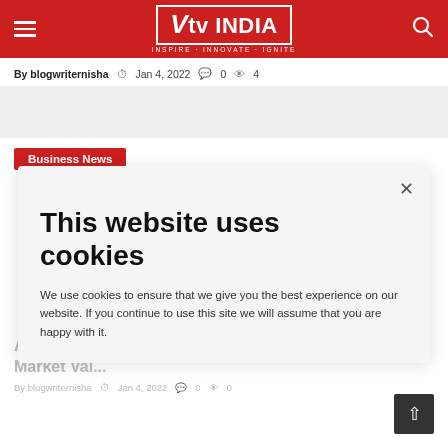VtvINDIA — INSPIRE · INNOVATE · IGNITE
By blogwriternisha  Jan 4, 2022  0  4
Business News
This website uses cookies
We use cookies to ensure that we give you the best experience on our website. If you continue to use this site we will assume that you are happy with it.
Apple Becomes First US Company To Touch The Market Val...
By blogwriternisha  Jan 4, 2022  0  0